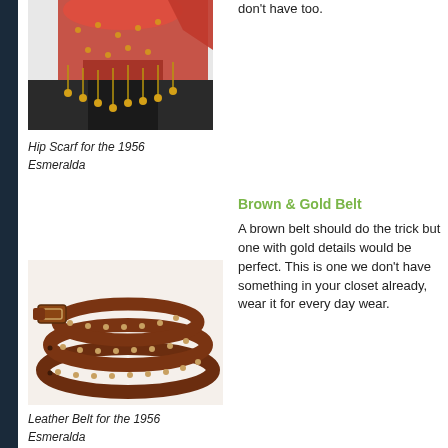[Figure (photo): Hip scarf with red and gold coin fringe, partially visible at top of page]
Hip Scarf for the 1956 Esmeralda
don't have too.
Brown & Gold Belt
A brown belt should do the trick but one with gold details would be perfect. This is one we don't have something in your closet already, wear it for every day wear.
[Figure (photo): Brown leather belt with gold studs, coiled/folded, photographed on white background]
Leather Belt for the 1956 Esmeralda